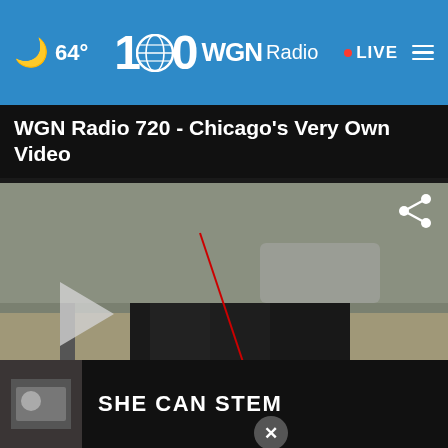64° WGN Radio • LIVE
WGN Radio 720 - Chicago's Very Own Video
[Figure (screenshot): Video player showing police officers restraining a person on the ground outdoors, with a play button overlay, share icon, KNWA news overlay, close button, and a ticker bar reading 'CT'S ASKING CUSTOMERS TO CONSERVE WATER USAGE WHILE RE... HEADLINES' with Ford logo]
[Figure (screenshot): Advertisement banner at bottom reading 'SHE CAN STEM' on dark background with small thumbnail on left]